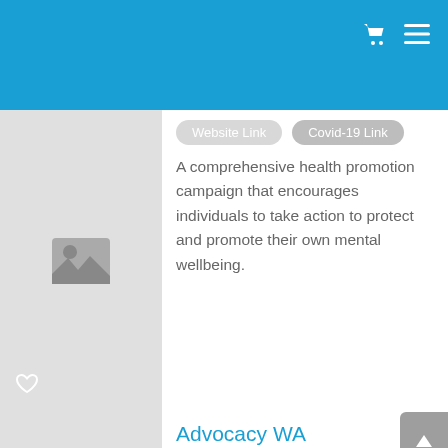[Figure (screenshot): Website navigation header with cart and hamburger menu icons on blue background]
A comprehensive health promotion campaign that encourages individuals to take action to protect and promote their own mental wellbeing.
Advocacy WA
in person, online and phone support, advice and advocacy.
(08) 9721 6444
Website Link